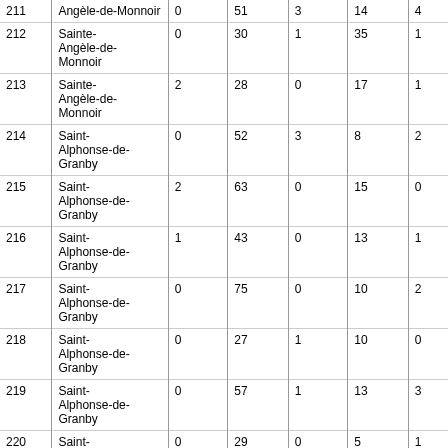| 211 | Angèle-de-Monnoir | 0 | 51 | 3 | 14 | 4 |
| 212 | Sainte-Angèle-de-Monnoir | 0 | 30 | 1 | 35 | 1 |
| 213 | Sainte-Angèle-de-Monnoir | 2 | 28 | 0 | 17 | 1 |
| 214 | Saint-Alphonse-de-Granby | 0 | 52 | 3 | 8 | 2 |
| 215 | Saint-Alphonse-de-Granby | 2 | 63 | 0 | 15 | 0 |
| 216 | Saint-Alphonse-de-Granby | 1 | 43 | 0 | 13 | 1 |
| 217 | Saint-Alphonse-de-Granby | 0 | 75 | 0 | 10 | 2 |
| 218 | Saint-Alphonse-de-Granby | 0 | 27 | 1 | 10 | 0 |
| 219 | Saint-Alphonse-de-Granby | 0 | 57 | 1 | 13 | 3 |
| 220 | Saint-Alphonse-de-Granby | 0 | 29 | 0 | 5 | 1 |
| 221 | Ange- | 1 | 52 | 0 | 18 | 2 |